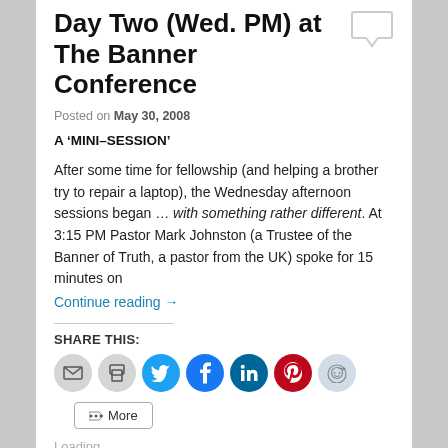Day Two (Wed. PM) at The Banner Conference
Posted on May 30, 2008
A ‘MINI–SESSION’
After some time for fellowship (and helping a brother try to repair a laptop), the Wednesday afternoon sessions began … with something rather different. At 3:15 PM Pastor Mark Johnston (a Trustee of the Banner of Truth, a pastor from the UK) spoke for 15 minutes on
Continue reading →
SHARE THIS:
[Figure (infographic): Social share buttons: email, print, Twitter, Facebook, LinkedIn, Pinterest, Reddit, and a More button]
Loading...